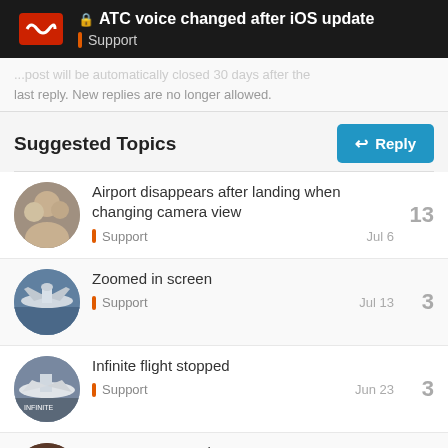🔒 ATC voice changed after iOS update | Support
...post will be automatically closed 30 days after the last reply. New replies are no longer allowed.
Suggested Topics
Reply
Airport disappears after landing when changing camera view | Support | Jul 6 | 13
Zoomed in screen | Support | Jul 13 | 3
Infinite flight stopped | Support | Jun 23 | 3
☑ KC-10A Extender Issues | Support | 35
12 / 14